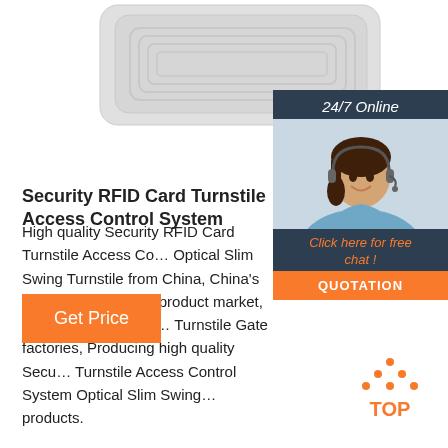[Figure (photo): RFID card product photo, white/grey card at top of page]
[Figure (infographic): 24/7 Online chat widget with woman wearing headset, orange QUOTATION button and 'Click here for free chat!' text]
Security RFID Card Turnstile Access Control System
High quality Security RFID Card Turnstile Access Control System Optical Slim Swing Turnstile from China, China's leading Turnstile Gate product market, With strict quality control Turnstile Gate factories, Producing high quality Security RFID Card Turnstile Access Control System Optical Slim Swing Turnstile products.
[Figure (other): Orange 'Get Price' button]
[Figure (logo): TOP navigation icon with orange dots and text]